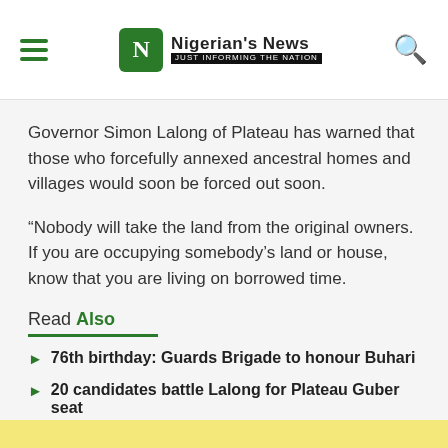Nigerian's News — JUST INFORMING THE NATION
Governor Simon Lalong of Plateau has warned that those who forcefully annexed ancestral homes and villages would soon be forced out soon.
“Nobody will take the land from the original owners. If you are occupying somebody’s land or house, know that you are living on borrowed time.
Read Also
76th birthday: Guards Brigade to honour Buhari
20 candidates battle Lalong for Plateau Guber seat